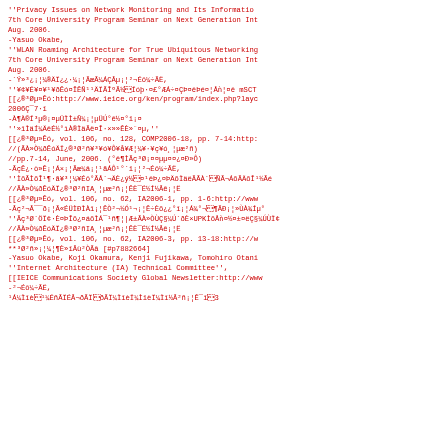''Privacy Issues on Network Monitoring and Its Informatio
7th Core University Program Seminar on Next Generation Int
Aug. 2006.
-Yasuo Okabe,
''WLAN Roaming Architecture for True Ubiquitous Networking
7th Core University Program Seminar on Next Generation Int
Aug. 2006.
-´Ý»³¿¡¦¼®ÄÏ¿¿·¼¡¦ÃæÃ¼ÁÇÂµ¡¦²¬Éô¼÷ÃË,
''¥¢¥É¥¤¥¹¥ðÊó¤ÎÊÑ¹¹ÄÏÃÎºÃ½ ÍóÞ·¤£°ÆÁ÷¤ÇÞ¤ëÞé¤¦Åǹ¦¤ë mSCT
[[¿®³Øµ»Êó:http://www.ieice.org/ken/program/index.php?layc
2006Ç¯7·î
-À¶À®Í³µ®¡¤µÜÌÌ±Ñ¼¡¦µÜÚ°ê½¤°î¡¤
''»îÌäÍ¼ÄëÉ½°ìÀ®ÌäÃë¤Î·×»»ÊÈ»¨¤µ,''
[[¿®³Øµ»Êó, vol. 106, no. 128, COMP2006-18, pp. 7-14:http:
//(ÃÀ»Ò¼ðÊóÄÏ¿®³Ø²ñ¥³¥ó¥Ô¥å¥Æ¦¼¥·¥ç¥ó¸¦µæ²ñ)
//pp.7-14, June, 2006. (°ë¶ÌÃç³Ø¡¤¤µµ¤¤¿¤Ð»Ô)
-ÃçÊ¿·ò»Ê¡¦Á×¡¦Ãæ¼â¡¦¹ãÁÔ¹°´î¡¦²¬Éô¼÷ÃË,
''ÌõÃÌõÎ¹¶·ã¥³¦¼¥Éô°ÃÅ´¬ÄÈ¿ý½ ¤¹ëÞ¿¤ÞÄõÌäëÃÃÀ´ ÑÃ¬ÁõÃÄõÎ¹½Ãé
//ÃÀ»Ò¼ðÊóÄÏ¿®³Ø²ñIA¸¦µæ²ñ¡¦ÊÈ¯É½Í½Âê¡¦Ë
[[¿®³Øµ»Êó, vol. 106, no. 62, IA2006-1, pp. 1-6:http://www
-Âç²¬Â¯¯ð¡¦Ã«ÉÜÌÐÌÀî¡¦ÊÒ²¬½Ó¹¬¡¦Ê÷Èõ¿¿°î¡¦Á¾°¬ ¶ÃÐ¡¦»ÙÀ¾Íµ°
''Ãç³Ø´ÖÏ¢·È¤ÞÎõ¿¤áõÌÁ¯¹ñ¶¦|Æ±ÃÀ»ÒÙÇ§¼Ú´ðÈ×UPKÌõÅǹ¤½¤±¤ëÇ§¼ÚÙÏ¢
//ÃÀ»Ò¼ðÊóÄÏ¿®³Ø²ñIA¸¦µæ²ñ¡¦ÊÈ¯É½Í½Âê¡¦Ë
[[¿®³Øµ»Êó, vol. 106, no. 62, IA2006-3, pp. 13-18:http://w
**³Ø²ñ»¡¦¼¦¶È»îÂù²ÒÃâ [#p7882664]
-Yasuo Okabe, Koji Okamura, Kenji Fujikawa, Tomohiro Otani
''Internet Architecture (IA) Technical Committee'',
[[IEICE Communications Society Global Newsletter:http://www
-²¬Éô¼÷ÃË,
¹Á¼Ìîè ¹¼ÉñÃÏÉÂ¬ðÃÏ ðÃÏ¼ÌîèÏ¼ÌîèÏ¼Ìî½Â²ñ¡¦Ê¯î­ 3